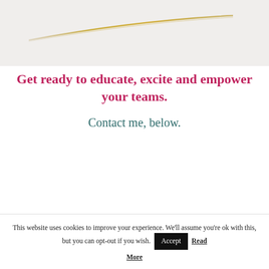[Figure (illustration): Decorative golden diagonal line on a light grey background header area]
Get ready to educate, excite and empower your teams.
Contact me, below.
This website uses cookies to improve your experience. We'll assume you're ok with this, but you can opt-out if you wish. Accept Read More